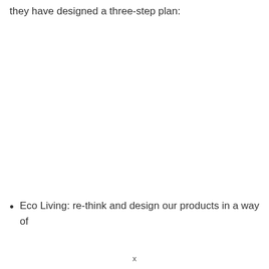they have designed a three-step plan:
Eco Living: re-think and design our products in a way of
x